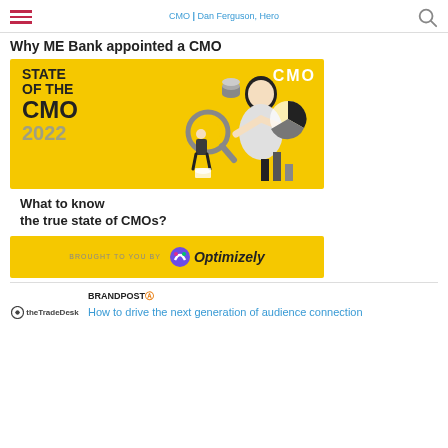CMO | Dan Ferguson, Hero
Why ME Bank appointed a CMO
[Figure (illustration): State of the CMO 2022 banner advertisement on yellow background with illustration of a woman analyzing data, charts, and a magnifying glass. Text reads: STATE OF THE CMO 2022, CMO]
What to know the true state of CMOs?
[Figure (logo): Brought to you by Optimizely sponsor banner on yellow background]
BRANDPOST How to drive the next generation of audience connection
[Figure (logo): The Trade Desk logo]